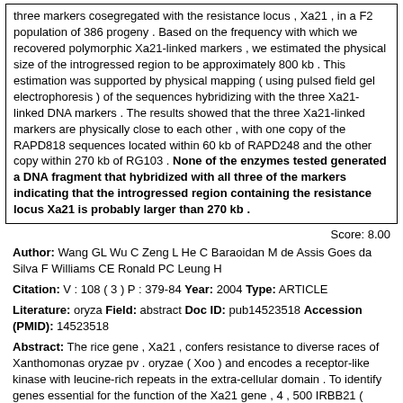three markers cosegregated with the resistance locus , Xa21 , in a F2 population of 386 progeny . Based on the frequency with which we recovered polymorphic Xa21-linked markers , we estimated the physical size of the introgressed region to be approximately 800 kb . This estimation was supported by physical mapping ( using pulsed field gel electrophoresis ) of the sequences hybridizing with the three Xa21-linked DNA markers . The results showed that the three Xa21-linked markers are physically close to each other , with one copy of the RAPD818 sequences located within 60 kb of RAPD248 and the other copy within 270 kb of RG103 . None of the enzymes tested generated a DNA fragment that hybridized with all three of the markers indicating that the introgressed region containing the resistance locus Xa21 is probably larger than 270 kb .
Score: 8.00
Author: Wang GL Wu C Zeng L He C Baraoidan M de Assis Goes da Silva F Williams CE Ronald PC Leung H
Citation: V : 108 ( 3 ) P : 379-84 Year: 2004 Type: ARTICLE
Literature: oryza Field: abstract Doc ID: pub14523518 Accession (PMID): 14523518
Abstract: The rice gene , Xa21 , confers resistance to diverse races of Xanthomonas oryzae pv . oryzae ( Xoo ) and encodes a receptor-like kinase with leucine-rich repeats in the extra-cellular domain . To identify genes essential for the function of the Xa21 gene , 4 , 500 IRBB21 ( Xa21 isogenic line in IR24 background ) mutants , induced by diepoxybutane and fast neutrons , were screened against Philippine race six ( PR6 ) Xoo for a change from resistance to susceptibility . From two greenhouse screens , 23 mutants were identified that had changed from resistant to fully ( 6 ) or partially ( 17 ) susceptible to PR6 . All fully